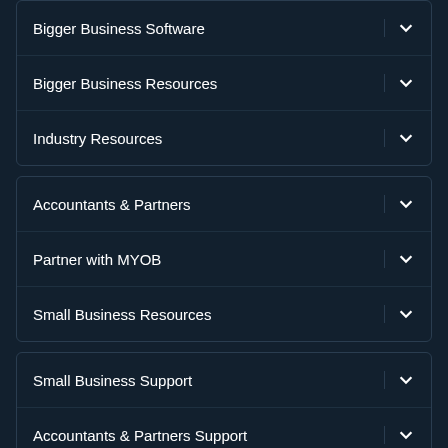Bigger Business Software
Bigger Business Resources
Industry Resources
Accountants & Partners
Partner with MYOB
Small Business Resources
Small Business Support
Accountants & Partners Support